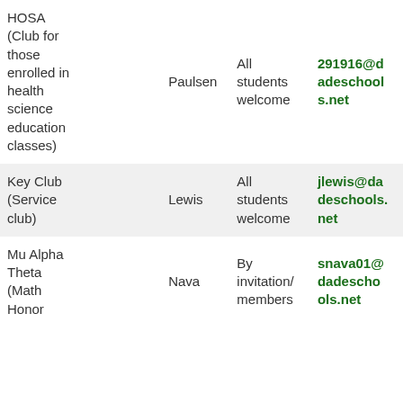| Club | Advisor | Eligibility | Contact |
| --- | --- | --- | --- |
| HOSA (Club for those enrolled in health science education classes) | Paulsen | All students welcome | 291916@dadeschools.net |
| Key Club (Service club) | Lewis | All students welcome | jlewis@dadeschools.net |
| Mu Alpha Theta (Math Honor | Nava | By invitation/ members | snava01@dadeschools.net |